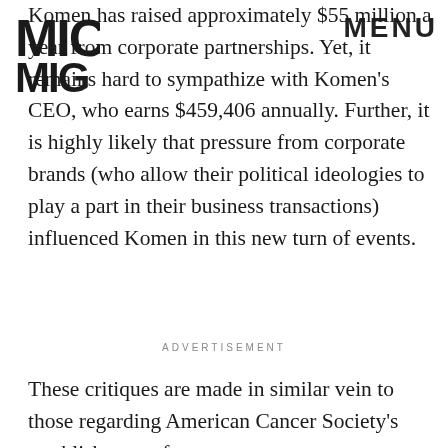MIC | MENU
Komen has raised approximately $55 million a year from corporate partnerships. Yet, it remains hard to sympathize with Komen's CEO, who earns $459,406 annually. Further, it is highly likely that pressure from corporate brands (who allow their political ideologies to play a part in their business transactions) influenced Komen in this new turn of events.
ADVERTISEMENT
These critiques are made in similar vein to those regarding American Cancer Society's establishment of